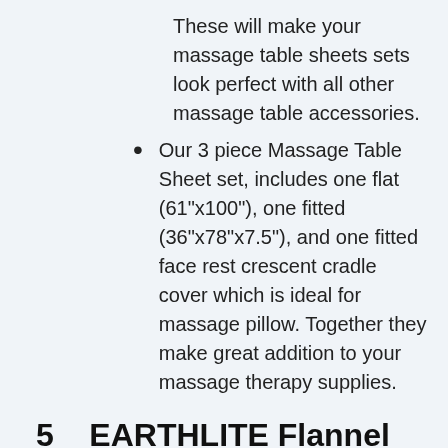These will make your massage table sheets sets look perfect with all other massage table accessories.
Our 3 piece Massage Table Sheet set, includes one flat (61"x100"), one fitted (36"x78"x7.5"), and one fitted face rest crescent cradle cover which is ideal for massage pillow. Together they make great addition to your massage therapy supplies.
5   EARTHLITE Flannel Massage Table Sheet Set ESSENTIALS – Commercial Grade, Soft, Double-Napped 3-Piece Set (Top, Fitted, Face